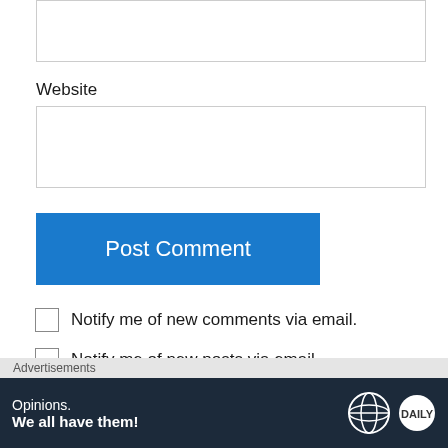[Figure (screenshot): Text input box (top, partially visible)]
Website
[Figure (screenshot): Website text input box]
[Figure (screenshot): Post Comment button (blue)]
Notify me of new comments via email.
Notify me of new posts via email.
Advertisements
[Figure (logo): WordPress logo on beige background]
Advertisements
[Figure (screenshot): Ad banner: Opinions. We all have them! with WordPress and another logo]